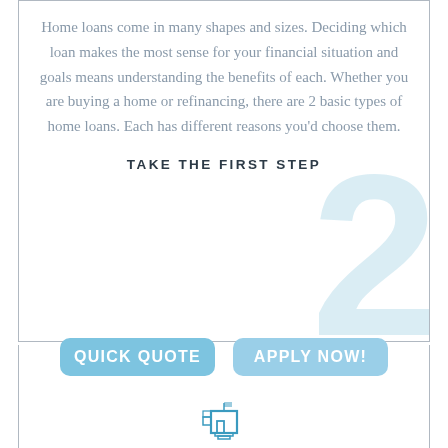Home loans come in many shapes and sizes. Deciding which loan makes the most sense for your financial situation and goals means understanding the benefits of each. Whether you are buying a home or refinancing, there are 2 basic types of home loans. Each has different reasons you'd choose them.
TAKE THE FIRST STEP
[Figure (other): Large watermark numeral '2' in light blue behind the text content]
QUICK QUOTE
APPLY NOW!
[Figure (illustration): Building/house icon at the bottom center of the lower box]